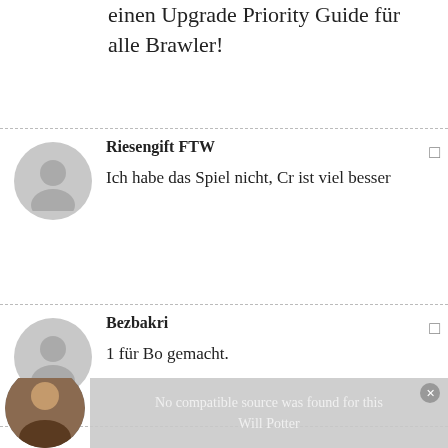einen Upgrade Priority Guide für alle Brawler!
Riesengift FTW
Ich habe das Spiel nicht, Cr ist viel besser
Bezbakri
1 für Bo gemacht.
No compatible source was found for this
Will Pottor